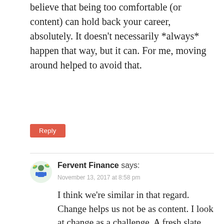believe that being too comfortable (or content) can hold back your career, absolutely. It doesn't necessarily *always* happen that way, but it can. For me, moving around helped to avoid that.
Reply
Fervent Finance says:
November 13, 2017 at 8:58 pm
I think we're similar in that regard. Change helps us not be as content. I look at change as a challenge. A fresh slate perhaps.
Reply
Mr. SSC says:
November 6, 2017 at 12:19 pm
I think finding your balance of content and